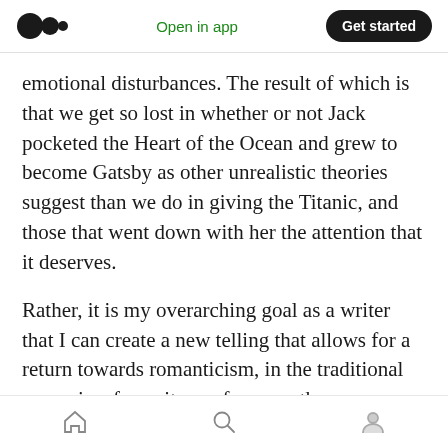Medium logo | Open in app | Get started
emotional disturbances. The result of which is that we get so lost in whether or not Jack pocketed the Heart of the Ocean and grew to become Gatsby as other unrealistic theories suggest than we do in giving the Titanic, and those that went down with her the attention that it deserves.
Rather, it is my overarching goal as a writer that I can create a new telling that allows for a return towards romanticism, in the traditional sense, insofar as it may focus on the storyteller’s inward
Home | Search | Profile